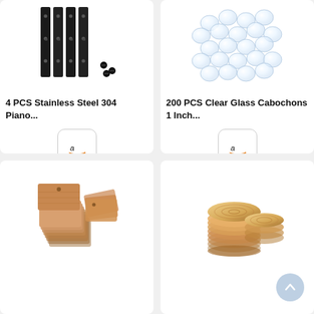[Figure (photo): 4 black stainless steel piano hinges with screws]
4 PCS Stainless Steel 304 Piano...
[Figure (photo): Amazon logo button for product link]
[Figure (photo): 200 clear glass cabochons 1 inch, pile of round transparent domes]
200 PCS Clear Glass Cabochons 1 Inch...
[Figure (photo): Amazon logo button for product link]
[Figure (photo): Stack of wooden tag/label pieces, rectangular with hole]
[Figure (photo): Stack of wooden oval/circle slices]